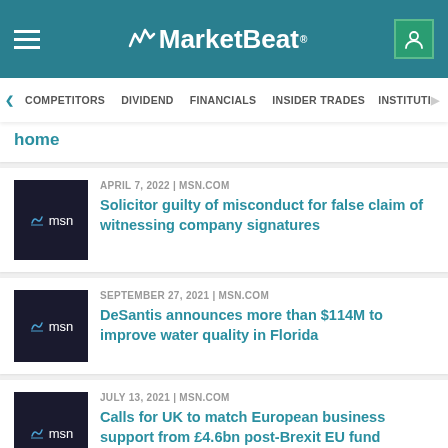MarketBeat
COMPETITORS | DIVIDEND | FINANCIALS | INSIDER TRADES | INSTITUTIONAL
home
APRIL 7, 2022 | MSN.COM
Solicitor guilty of misconduct for false claim of witnessing company signatures
SEPTEMBER 27, 2021 | MSN.COM
DeSantis announces more than $114M to improve water quality in Florida
JULY 13, 2021 | MSN.COM
Calls for UK to match European business support from £4.6bn post-Brexit EU fund